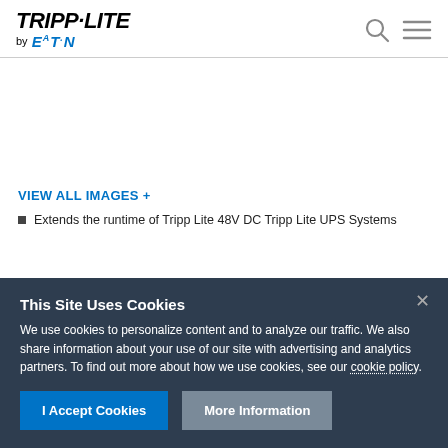[Figure (logo): Tripp-Lite by Eaton logo in top left, with search and hamburger menu icons on the right]
VIEW ALL IMAGES +
Extends the runtime of Tripp Lite 48V DC Tripp Lite UPS Systems
This Site Uses Cookies
We use cookies to personalize content and to analyze our traffic. We also share information about your use of our site with advertising and analytics partners. To find out more about how we use cookies, see our cookie policy.
I Accept Cookies | More Information